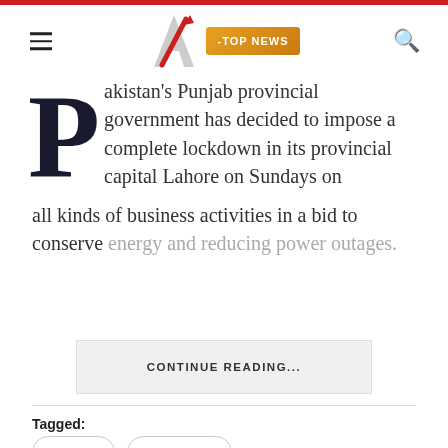A -TOP NEWS [navigation header with logo, hamburger menu, and search icon]
Pakistan's Punjab provincial government has decided to impose a complete lockdown in its provincial capital Lahore on Sundays on all kinds of business activities in a bid to conserve energy and reducing power outages.
CONTINUE READING...
Tagged:
Energy
PAKISTAN